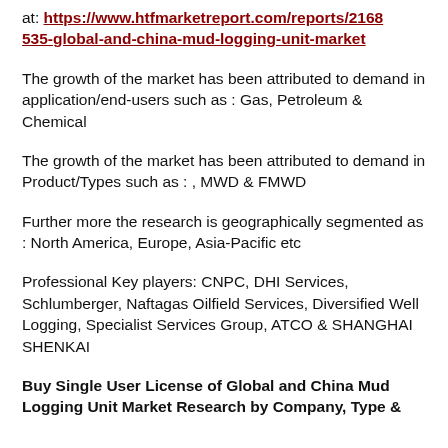at: https://www.htfmarketreport.com/reports/2168535-global-and-china-mud-logging-unit-market
The growth of the market has been attributed to demand in application/end-users such as : Gas, Petroleum & Chemical
The growth of the market has been attributed to demand in Product/Types such as : , MWD & FMWD
Further more the research is geographically segmented as : North America, Europe, Asia-Pacific etc
Professional Key players: CNPC, DHI Services, Schlumberger, Naftagas Oilfield Services, Diversified Well Logging, Specialist Services Group, ATCO & SHANGHAI SHENKAI
Buy Single User License of Global and China Mud Logging Unit Market Research by Company, Type &